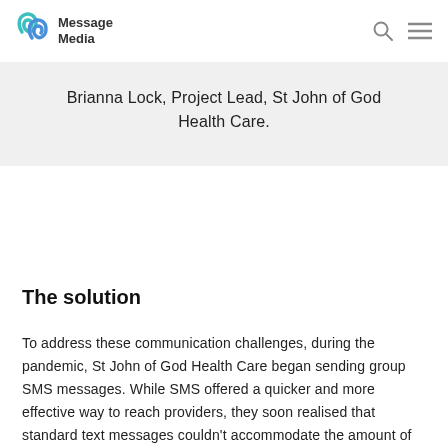Message Media
Brianna Lock, Project Lead, St John of God Health Care.
The solution
To address these communication challenges, during the pandemic, St John of God Health Care began sending group SMS messages. While SMS offered a quicker and more effective way to reach providers, they soon realised that standard text messages couldn't accommodate the amount of information required.